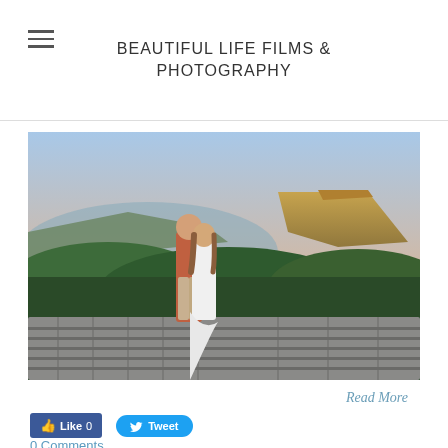BEAUTIFUL LIFE FILMS & PHOTOGRAPHY
[Figure (photo): A couple standing together at a stone overlook wall, looking out at a sweeping mountain landscape with green forested hills and a prominent rocky peak at sunset/dusk with pastel sky.]
Read More
Like 0
Tweet
0 Comments